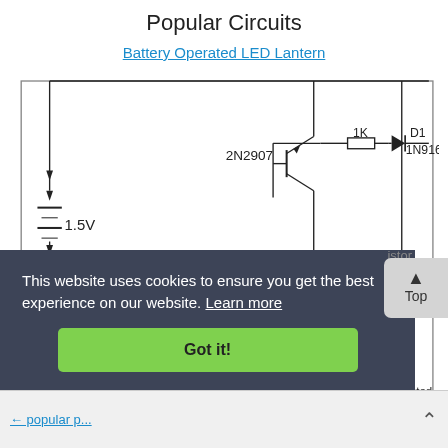Popular Circuits
Battery Operated LED Lantern
[Figure (circuit-diagram): Battery Operated LED Lantern circuit diagram showing components: 2N2907 PNP transistor, 2N4401 NPN transistor, D1 1N916 diode, D2 1N916 diode, D3 1N916 diode, 1.5V battery, 1K resistors, 100k resistor, transformer/inductor coil, and Series Connected LEDs label.]
This website uses cookies to ensure you get the best experience on our website. Learn more
Got it!